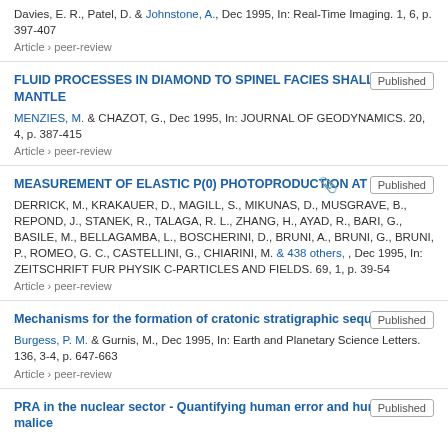Davies, E. R., Patel, D. & Johnstone, A., Dec 1995, In: Real-Time Imaging. 1, 6, p. 397-407
Article › peer-review
FLUID PROCESSES IN DIAMOND TO SPINEL FACIES SHALLOW MANTLE
MENZIES, M. & CHAZOT, G., Dec 1995, In: JOURNAL OF GEODYNAMICS. 20, 4, p. 387-415
Article › peer-review
MEASUREMENT OF ELASTIC P(0) PHOTOPRODUCTION AT HERA
DERRICK, M., KRAKAUER, D., MAGILL, S., MIKUNAS, D., MUSGRAVE, B., REPOND, J., STANEK, R., TALAGA, R. L., ZHANG, H., AYAD, R., BARI, G., BASILE, M., BELLAGAMBA, L., BOSCHERINI, D., BRUNI, A., BRUNI, G., BRUNI, P., ROMEO, G. C., CASTELLINI, G., CHIARINI, M. & 438 others, , Dec 1995, In: ZEITSCHRIFT FUR PHYSIK C-PARTICLES AND FIELDS. 69, 1, p. 39-54
Article › peer-review
Mechanisms for the formation of cratonic stratigraphic sequences
Burgess, P. M. & Gurnis, M., Dec 1995, In: Earth and Planetary Science Letters. 136, 3-4, p. 647-663
Article › peer-review
PRA in the nuclear sector - Quantifying human error and human malice